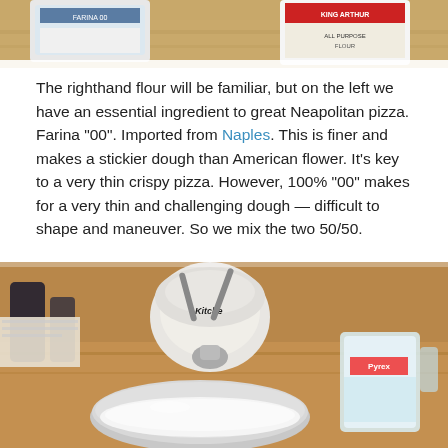[Figure (photo): Top portion of a photo showing flour bags on a wooden surface, partially cropped at top of page]
The righthand flour will be familiar, but on the left we have an essential ingredient to great Neapolitan pizza. Farina “00”. Imported from Naples. This is finer and makes a stickier dough than American flower. It’s key to a very thin crispy pizza. However, 100% “00” makes for a very thin and challenging dough — difficult to shape and maneuver. So we mix the two 50/50.
[Figure (photo): Photo of a KitchenAid stand mixer with a silver bowl containing white flour/dough, and a Pyrex measuring cup visible on the right, on a wooden countertop]